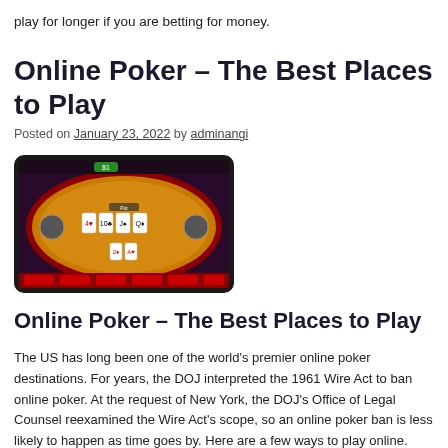play for longer if you are betting for money.
Online Poker – The Best Places to Play
Posted on January 23, 2022 by adminangi
[Figure (screenshot): Screenshot of an online poker game on a tablet/phone showing a virtual poker table with cards dealt on an orange felt surface.]
Online Poker – The Best Places to Play
The US has long been one of the world's premier online poker destinations. For years, the DOJ interpreted the 1961 Wire Act to ban online poker. At the request of New York, the DOJ's Office of Legal Counsel reexamined the Wire Act's scope, so an online poker ban is less likely to happen as time goes by. Here are a few ways to play online.